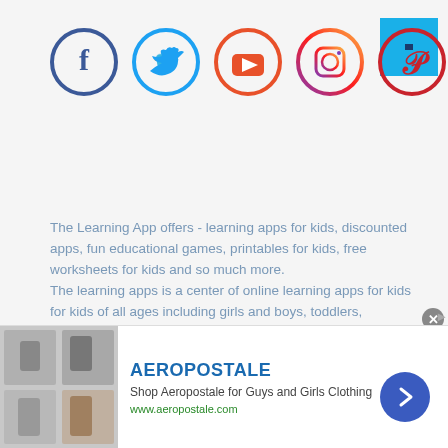[Figure (illustration): Social media icons in circles: Facebook (blue), Twitter (light blue), YouTube (orange-red), Instagram (purple gradient), Pinterest (red)]
The Learning App offers - learning apps for kids, discounted apps, fun educational games, printables for kids, free worksheets for kids and so much more. The learning apps is a center of online learning apps for kids for kids of all ages including girls and boys, toddlers, kindergartners, preschoolers, homeschoolers as well as adults including parents, teachers and students who enjoy fun educational games, discounted apps, learning apps for kids, printables for kids, free worksheets for kids and so much more. Choose from a wide range of best educational apps and start learning. The learning apps work perfectly on iPhones, iPads, android devices and on desktop. Happy learning folks!
[Figure (screenshot): Advertisement banner for Aeropostale showing clothing images, brand name, tagline 'Shop Aeropostale for Guys and Girls Clothing', URL www.aeropostale.com, and a navigation arrow button]